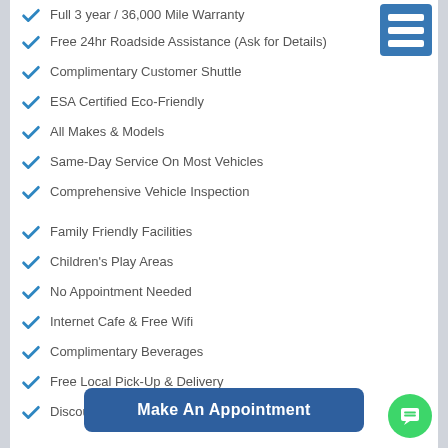Full 3 year / 36,000 Mile Warranty
Free 24hr Roadside Assistance (Ask for Details)
Complimentary Customer Shuttle
ESA Certified Eco-Friendly
All Makes & Models
Same-Day Service On Most Vehicles
Comprehensive Vehicle Inspection
Family Friendly Facilities
Children's Play Areas
No Appointment Needed
Internet Cafe & Free Wifi
Complimentary Beverages
Free Local Pick-Up & Delivery
Discounted Rental Cars Available In Most Locations
Make An Appointment